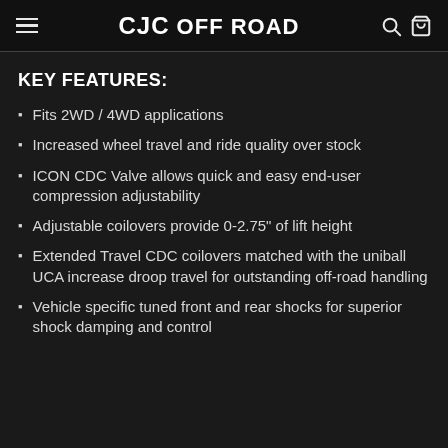CJC OFF ROAD
KEY FEATURES:
Fits 2WD / 4WD applications
Increased wheel travel and ride quality over stock
ICON CDC Valve allows quick and easy end-user compression adjustability
Adjustable coilovers provide 0-2.75" of lift height
Extended Travel CDC coilovers matched with the uniball UCA increase droop travel for outstanding off-road handling
Vehicle specific tuned front and rear shocks for superior shock damping and control